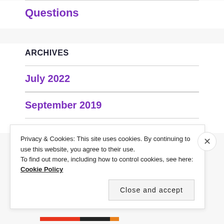Questions
ARCHIVES
July 2022
September 2019
Privacy & Cookies: This site uses cookies. By continuing to use this website, you agree to their use.
To find out more, including how to control cookies, see here: Cookie Policy
Close and accept